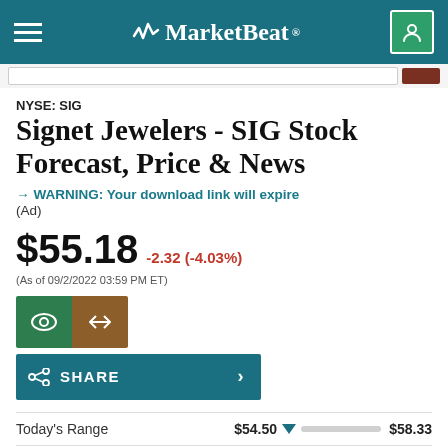MarketBeat
NYSE: SIG
Signet Jewelers - SIG Stock Forecast, Price & News
→ WARNING: Your download link will expire (Ad)
$55.18 -2.32 (-4.03%) (As of 09/2/2022 03:59 PM ET)
SHARE
Today's Range $54.50 $58.33
50-Day Range $52.54 $70.73